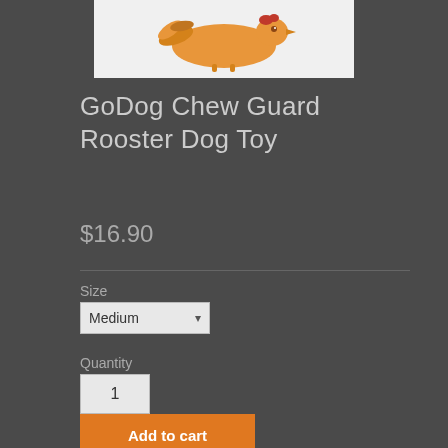[Figure (photo): Product photo of GoDog Chew Guard Rooster Dog Toy - an orange/tan colored rooster-shaped dog toy shown against white background]
GoDog Chew Guard Rooster Dog Toy
$16.90
Size
Medium
Quantity
1
Add to cart
Description